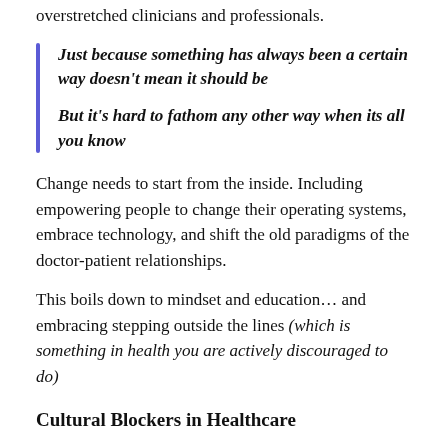overstretched clinicians and professionals.
Just because something has always been a certain way doesn't mean it should be

But it's hard to fathom any other way when its all you know
Change needs to start from the inside. Including empowering people to change their operating systems, embrace technology, and shift the old paradigms of the doctor-patient relationships.
This boils down to mindset and education… and embracing stepping outside the lines (which is something in health you are actively discouraged to do)
Cultural Blockers in Healthcare